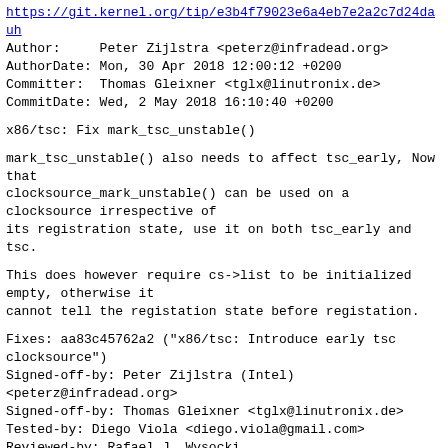https://git.kernel.org/tip/e3b4f79023e6a4eb7e2a2c7d24dauf
Author:     Peter Zijlstra <peterz@infradead.org>
AuthorDate: Mon, 30 Apr 2018 12:00:12 +0200
Committer:  Thomas Gleixner <tglx@linutronix.de>
CommitDate: Wed, 2 May 2018 16:10:40 +0200
x86/tsc: Fix mark_tsc_unstable()
mark_tsc_unstable() also needs to affect tsc_early, Now
that
clocksource_mark_unstable() can be used on a
clocksource irrespective of
its registration state, use it on both tsc_early and
tsc.
This does however require cs->list to be initialized
empty, otherwise it
cannot tell the registation state before registation.
Fixes: aa83c45762a2 ("x86/tsc: Introduce early tsc
clocksource")
Signed-off-by: Peter Zijlstra (Intel)
<peterz@infradead.org>
Signed-off-by: Thomas Gleixner <tglx@linutronix.de>
Tested-by: Diego Viola <diego.viola@gmail.com>
Reviewed-by: Rafael J. Wysocki
<rafael.j.wysocki@intel.com>
Cc: len.brown@intel.com
Cc: rjw@rjwysocki.net
Cc: rui.zhang@intel.com
Cc: stable@vger.kernel.org